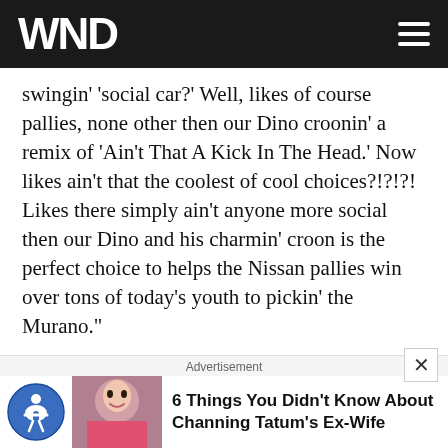WND
swingin' 'social car?' Well, likes of course pallies, none other then our Dino croonin' a remix of 'Ain't That A Kick In The Head.' Now likes ain't that the coolest of cool choices?!?!?! Likes there simply ain't anyone more social then our Dino and his charmin' croon is the perfect choice to helps the Nissan pallies win over tons of today's youth to pickin' the Murano."
Yep. Ultra cool. Even while it's sizzlin' hot.
Gone to the birds
Advertisement
6 Things You Didn't Know About Channing Tatum's Ex-Wife